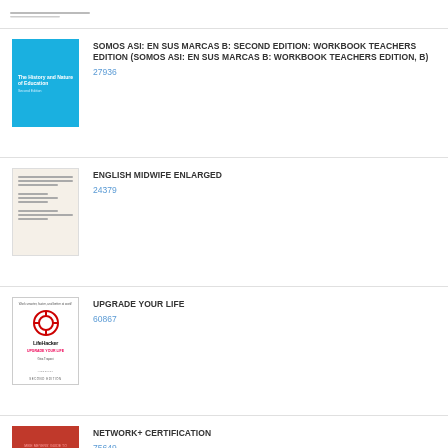SOMOS ASI: EN SUS MARCAS B: SECOND EDITION: WORKBOOK TEACHERS EDITION (SOMOS ASI: EN SUS MARCAS B: WORKBOOK TEACHERS EDITION, B)
27936
ENGLISH MIDWIFE ENLARGED
24379
UPGRADE YOUR LIFE
60867
NETWORK+ CERTIFICATION
75649